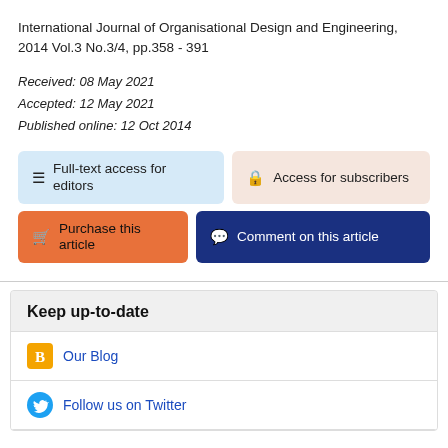International Journal of Organisational Design and Engineering, 2014 Vol.3 No.3/4, pp.358 - 391
Received: 08 May 2021
Accepted: 12 May 2021
Published online: 12 Oct 2014
Full-text access for editors
Access for subscribers
Purchase this article
Comment on this article
Keep up-to-date
Our Blog
Follow us on Twitter